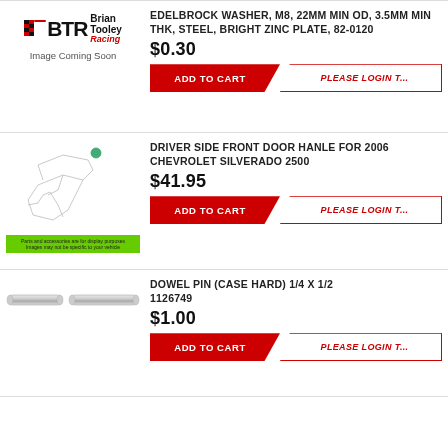[Figure (photo): Brian Tooley Racing logo with 'Image Coming Soon' placeholder]
EDELBROCK WASHER, M8, 22MM MIN OD, 3.5MM MIN THK, STEEL, BRIGHT ZINC PLATE, 82-0120
$0.30
ADD TO CART | PLEASE LOGIN T...
[Figure (illustration): Driver side front door handle diagram with green bar at bottom]
DRIVER SIDE FRONT DOOR HANLE FOR 2006 CHEVROLET SILVERADO 2500
$41.95
ADD TO CART | PLEASE LOGIN T...
[Figure (photo): Two dowel pins shown side by side]
DOWEL PIN (CASE HARD) 1/4 X 1/2 1126749
$1.00
ADD TO CART | PLEASE LOGIN T...